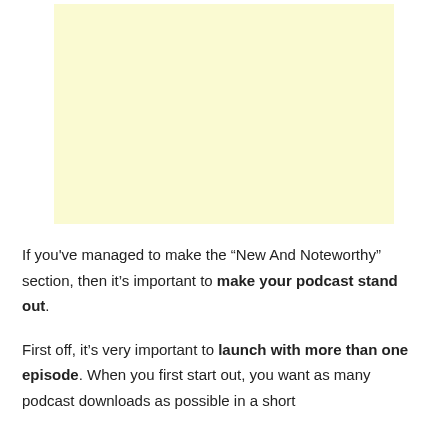[Figure (other): A plain light yellow rectangle, likely an advertisement or placeholder image]
If you've managed to make the “New And Noteworthy” section, then it’s important to make your podcast stand out.
First off, it’s very important to launch with more than one episode. When you first start out, you want as many podcast downloads as possible in a short